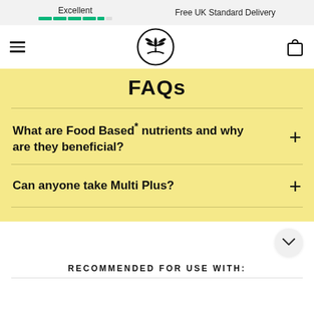Excellent  |  Free UK Standard Delivery
[Figure (logo): Botanical plant logo with circular border, hamburger menu icon on left, shopping bag icon on right]
FAQs
What are Food Based* nutrients and why are they beneficial?
Can anyone take Multi Plus?
RECOMMENDED FOR USE WITH: